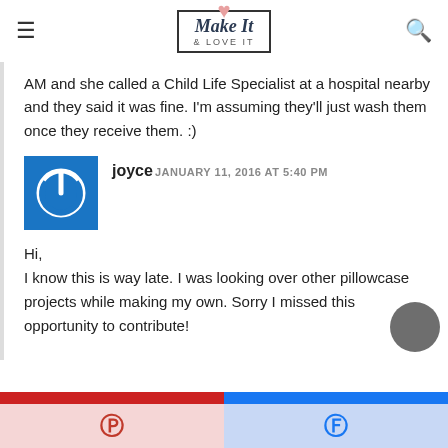Make It & Love It
AM and she called a Child Life Specialist at a hospital nearby and they said it was fine. I'm assuming they'll just wash them once they receive them. :)
joyce JANUARY 11, 2016 AT 5:40 PM
Hi,
I know this is way late. I was looking over other pillowcase projects while making my own. Sorry I missed this opportunity to contribute!